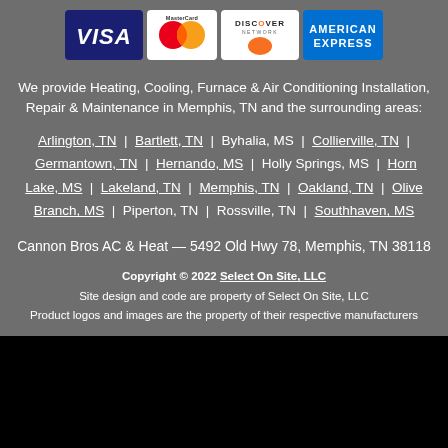[Figure (logo): Four payment card logos: Visa, MasterCard, Discover, American Express]
We provide Heating, Cooling, Furnace & Air Conditioning Installation, Repair & Maintenance in Memphis, TN and the surrounding areas:
Arlington, TN | Bartlett, TN | Byhalia, MS | Collierville, TN | Germantown, TN | Hernando, MS | Holly Springs, MS | Horn Lake, MS | Lakeland, TN | Memphis, TN | Oakland, TN | Olive Branch, MS | Piperton, TN | Rossville, TN | Southhaven, MS
Cannon Bros AC & Heat — 5492 Old Hwy 78, Memphis, TN 38118
Copyright © 2022 Select On Site, LLC
Site design and code are property of Select On Site, LLC
Product logos and images are the property of their respective manufacturers